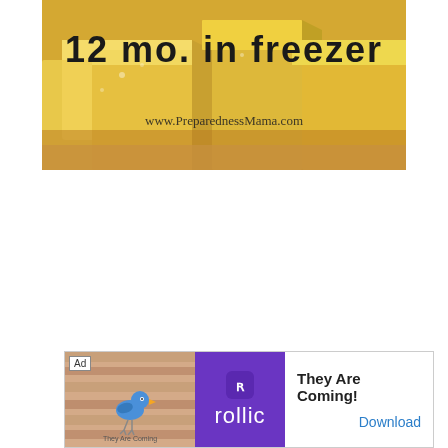[Figure (photo): Photo of yellow butter/cheese cubes on a wooden surface with text overlay '12 mo. in freezer' and watermark 'www.PreparednessMama.com']
[Figure (screenshot): Advertisement banner: Ad label, decorative image with bird on wood surface, Rollic purple logo, text 'They Are Coming!' with Download button]